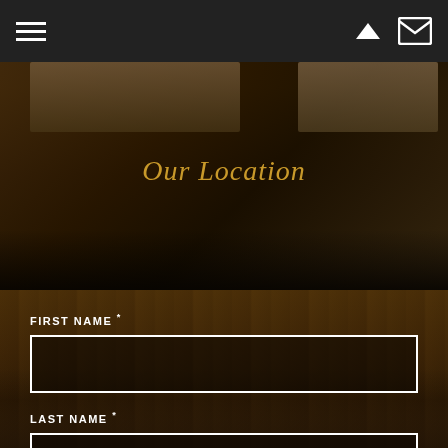Navigation bar with hamburger menu and icons
[Figure (photo): Dark background with blurred people/office scene and 'Our Location' title overlay]
Our Location
FIRST NAME *
LAST NAME *
EMAIL*
Spammer